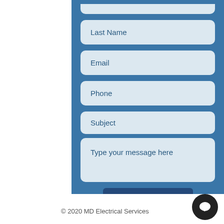[Figure (screenshot): Contact form with fields: Last Name, Email, Phone, Subject, message textarea, and Submit button on a blue panel background]
© 2020 MD Electrical Services